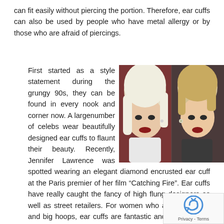can fit easily without piercing the portion. Therefore, ear cuffs can also be used by people who have metal allergy or by those who are afraid of piercings.
[Figure (photo): Two female celebrities wearing ear cuffs — one with platinum blonde wavy hair on the left, one with short blonde hair on the right. Both wearing dramatic dark lipstick.]
First started as a style statement during the grungy 90s, they can be found in every nook and corner now. A largenumber of celebs wear beautifully designed ear cuffs to flaunt their beauty. Recently, Jennifer Lawrence was spotted wearing an elegant diamond encrusted ear cuff at the Paris premier of her film “Catching Fire”. Ear cuffs have really caught the fancy of high flung designers as well as street retailers. For women who avoid danglers and big hoops, ear cuffs are fantastic and also for men w to sport earrings, ear cuffs make an edgy style sta